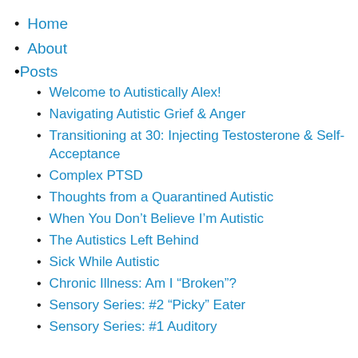Home
About
Posts
Welcome to Autistically Alex!
Navigating Autistic Grief & Anger
Transitioning at 30: Injecting Testosterone & Self-Acceptance
Complex PTSD
Thoughts from a Quarantined Autistic
When You Don’t Believe I’m Autistic
The Autistics Left Behind
Sick While Autistic
Chronic Illness: Am I “Broken”?
Sensory Series: #2 “Picky” Eater
Sensory Series: #1 Auditory